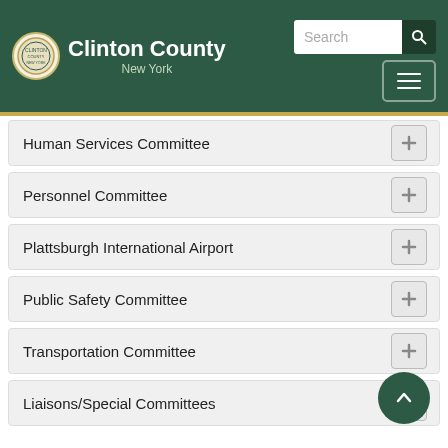Clinton County New York
Human Services Committee
Personnel Committee
Plattsburgh International Airport
Public Safety Committee
Transportation Committee
Liaisons/Special Committees